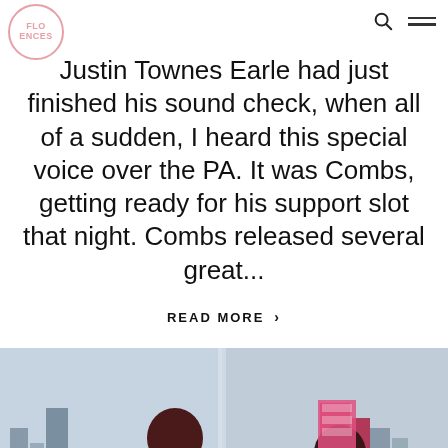FLO ENCES
Justin Townes Earle had just finished his sound check, when all of a sudden, I heard this special voice over the PA. It was Combs, getting ready for his support slot that night. Combs released several great...
READ MORE ›
[Figure (photo): Two musicians playing instruments — one with a banjo and one with a violin/fiddle — facing each other in front of large windows with a city skyline visible in the background. Both men have dark hair and beards, wearing casual shirts.]